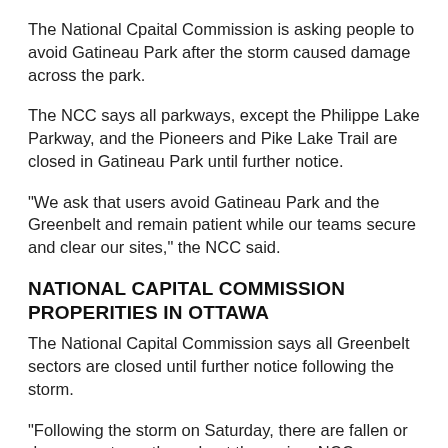The National Cpaital Commission is asking people to avoid Gatineau Park after the storm caused damage across the park.
The NCC says all parkways, except the Philippe Lake Parkway, and the Pioneers and Pike Lake Trail are closed in Gatineau Park until further notice.
"We ask that users avoid Gatineau Park and the Greenbelt and remain patient while our teams secure and clear our sites," the NCC said.
NATIONAL CAPITAL COMMISSION PROPERITIES IN OTTAWA
The National Capital Commission says all Greenbelt sectors are closed until further notice following the storm.
"Following the storm on Saturday, there are fallen or dangerous trees throughout the region. NCC crews are working hard to assess and secure our sites," the NCC